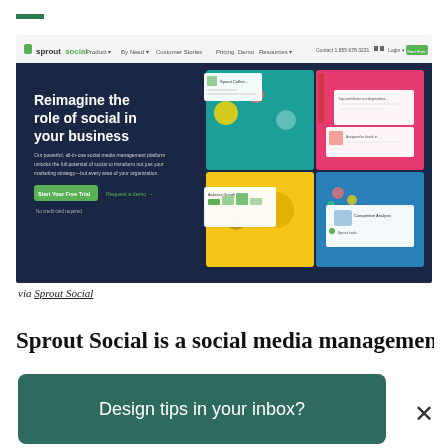[Figure (screenshot): Sprout Social website screenshot showing navigation bar with logo, menu items (Product, By Need, Customer Stories, Pricing, Demo, Resources), a green 'Start Your Free Trial' button, and a hero section with dark navy background displaying 'Reimagine the role of social in your business' headline with product UI screenshots on the right side.]
via Sprout Social
Sprout Social is a social media management
Design tips in your inbox?